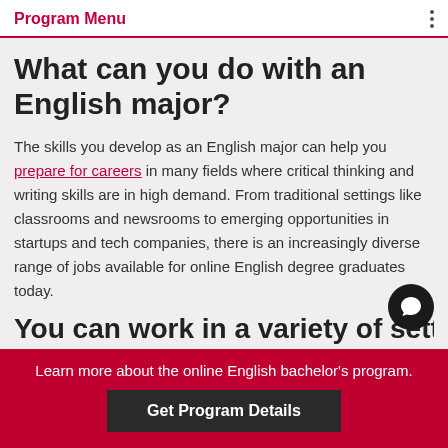Program Menu
What can you do with an English major?
The skills you develop as an English major can help you prepare for careers in many fields where critical thinking and writing skills are in high demand. From traditional settings like classrooms and newsrooms to emerging opportunities in startups and tech companies, there is an increasingly diverse range of jobs available for online English degree graduates today.
You can work in a variety of settings
Learn more about the online English bachelor's program.
Get Program Details